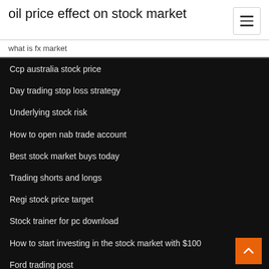oil price effect on stock market
what is fx market
Ccp australia stock price
Day trading stop loss strategy
Underlying stock risk
How to open nab trade account
Best stock market buys today
Trading shorts and longs
Regi stock price target
Stock trainer for pc download
How to start investing in the stock market with $100
Ford trading post